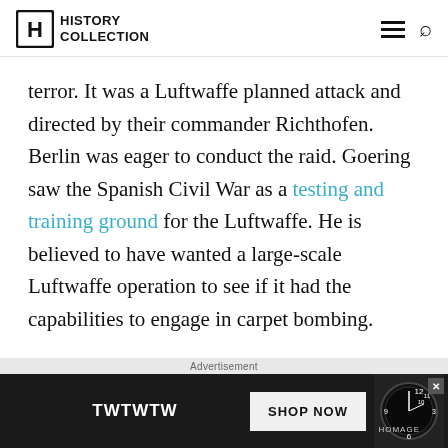History Collection
terror. It was a Luftwaffe planned attack and directed by their commander Richthofen. Berlin was eager to conduct the raid. Goering saw the Spanish Civil War as a testing and training ground for the Luftwaffe. He is believed to have wanted a large-scale Luftwaffe operation to see if it had the capabilities to engage in carpet bombing.
[Figure (other): Advertisement banner for TWTWTW SHOP NOW with a watch image and HOMAGE branding]